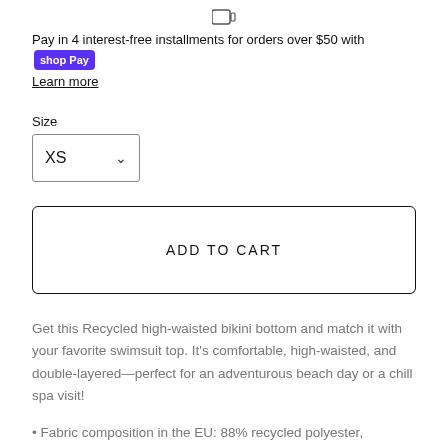[Figure (other): Small icon of a tablet/device at the top center]
Pay in 4 interest-free installments for orders over $50 with Shop Pay Learn more
Size
[Figure (other): Size dropdown selector showing XS with a chevron]
[Figure (other): ADD TO CART button with border]
Get this Recycled high-waisted bikini bottom and match it with your favorite swimsuit top. It's comfortable, high-waisted, and double-layered—perfect for an adventurous beach day or a chill spa visit!
• Fabric composition in the EU: 88% recycled polyester,